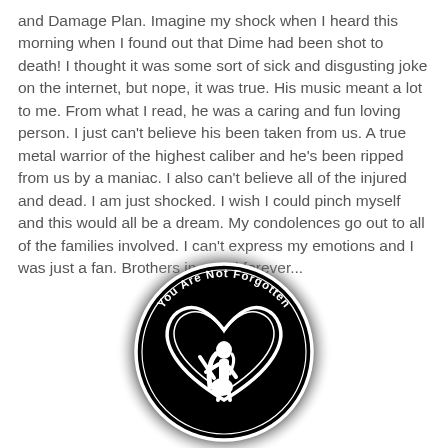and Damage Plan. Imagine my shock when I heard this morning when I found out that Dime had been shot to death! I thought it was some sort of sick and disgusting joke on the internet, but nope, it was true. His music meant a lot to me. From what I read, he was a caring and fun loving person. I just can't believe his been taken from us. A true metal warrior of the highest caliber and he's been ripped from us by a maniac. I also can't believe all of the injured and dead. I am just shocked. I wish I could pinch myself and this would all be a dream. My condolences go out to all of the families involved. I can't express my emotions and I was just a fan. Brothers in metal forever...
[Figure (illustration): A circular black emblem with a white heart outline inside, containing a white silhouette of a person with long hair playing guitar. Text around the top inside reads 'You Are Not Forgotten'. The emblem has a dark glowing/shadow effect radiating outward.]